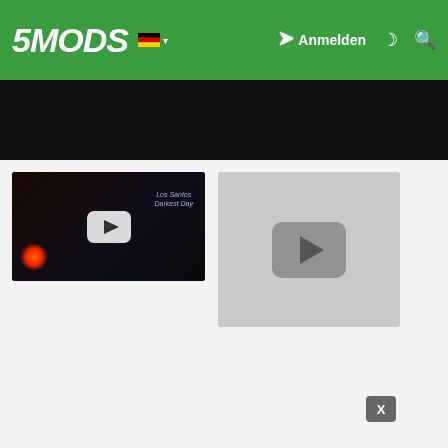5MODS — Anmelden
[Figure (screenshot): Dark hero banner area below navigation]
[Figure (screenshot): Video thumbnail 1: Los Santos Darkest Day, dark cinematic scene with play button]
[Figure (screenshot): Video thumbnail 2: gray placeholder with YouTube-style gray play button]